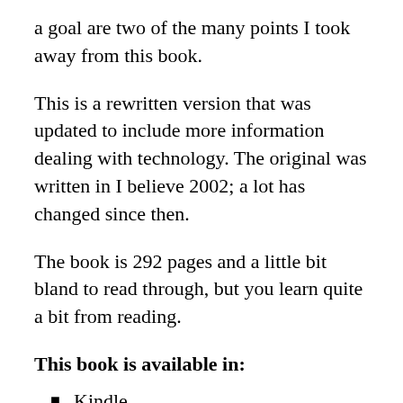a goal are two of the many points I took away from this book.
This is a rewritten version that was updated to include more information dealing with technology. The original was written in I believe 2002; a lot has changed since then.
The book is 292 pages and a little bit bland to read through, but you learn quite a bit from reading.
This book is available in:
Kindle
Paperback
I would highly recommend buying the Kindle version, I had a physical copy and it was cheaply made. A friend of mine showed me the kindle version and it is much easier to read and enjoy.